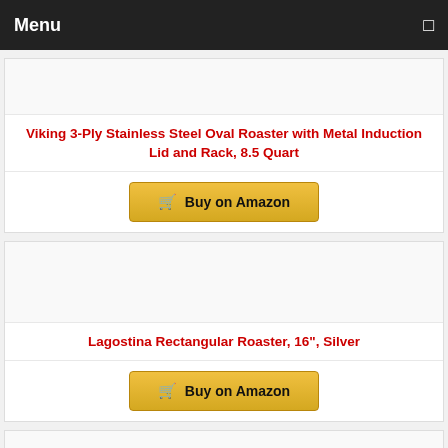Menu
Viking 3-Ply Stainless Steel Oval Roaster with Metal Induction Lid and Rack, 8.5 Quart
Buy on Amazon
Lagostina Rectangular Roaster, 16", Silver
Buy on Amazon
VonShef Stainless Steel Roasting Pan - 17 Inch